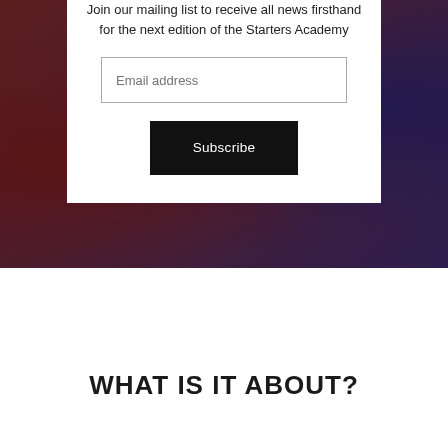Join our mailing list to receive all news firsthand for the next edition of the Starters Academy
Email address
Subscribe
WHAT IS IT ABOUT?